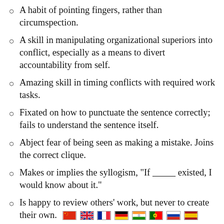A habit of pointing fingers, rather than circumspection.
A skill in manipulating organizational superiors into conflict, especially as a means to divert accountability from self.
Amazing skill in timing conflicts with required work tasks.
Fixated on how to punctuate the sentence correctly; fails to understand the sentence itself.
Abject fear of being seen as making a mistake. Joins the correct clique.
Makes or implies the syllogism, "If __________ existed, I would know about it."
Is happy to review others' work, but never to create their own. [flags]
A complete review and fit instituting of...